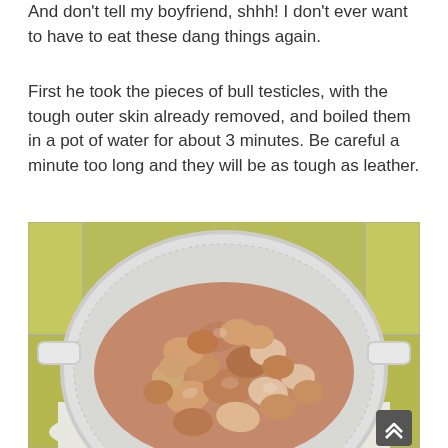And don't tell my boyfriend, shhh! I don't ever want to have to eat these dang things again.
First he took the pieces of bull testicles, with the tough outer skin already removed, and boiled them in a pot of water for about 3 minutes. Be careful a minute too long and they will be as tough as leather.
[Figure (photo): A white colander/strainer containing boiled pieces of bull testicles, sitting on a white cloth or paper towel, with a yellow-green tiled surface visible in the background.]